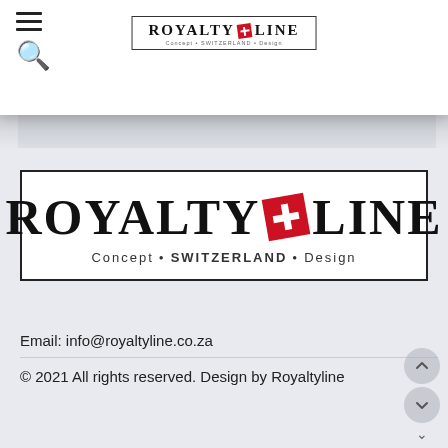[Figure (logo): Royalty Line Switzerland logo in navigation bar with hamburger menu and search icon]
[Figure (logo): Large Royalty Line logo: ROYALTY [red Swiss cross diamond] LINE, Concept • SWITZERLAND • Design]
Email: info@royaltyline.co.za
© 2021 All rights reserved. Design by Royaltyline